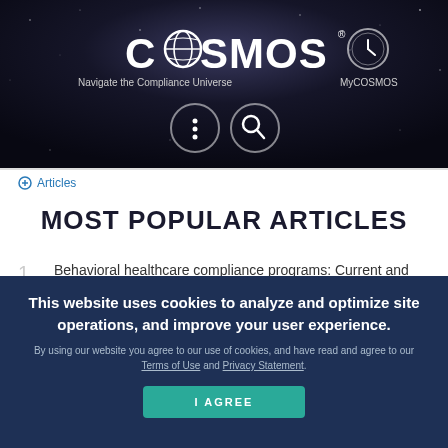[Figure (logo): COSMOS logo with globe icon, tagline 'Navigate the Compliance Universe', MyCOSMOS link, clock icon, and navigation icons (menu and search) on dark starfield background]
⊕ Articles
MOST POPULAR ARTICLES
1. Behavioral healthcare compliance programs: Current and future state
2. Using SMART goals to measure the effectiveness of your
This website uses cookies to analyze and optimize site operations, and improve your user experience.
By using our website you agree to our use of cookies, and have read and agree to our Terms of Use and Privacy Statement.
I AGREE